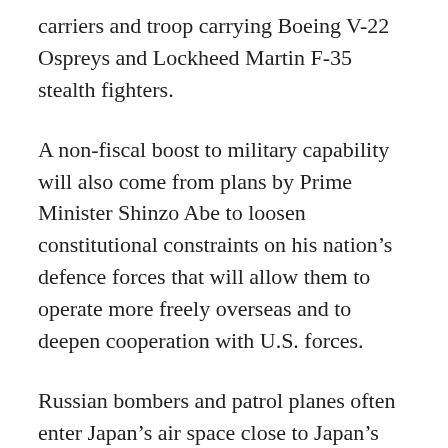carriers and troop carrying Boeing V-22 Ospreys and Lockheed Martin F-35 stealth fighters.
A non-fiscal boost to military capability will also come from plans by Prime Minister Shinzo Abe to loosen constitutional constraints on his nation’s defence forces that will allow them to operate more freely overseas and to deepen cooperation with U.S. forces.
Russian bombers and patrol planes often enter Japan’s air space close to Japan’s northern Hokkaido island and close to four smaller islands which are claimed both by Japan and Russia.